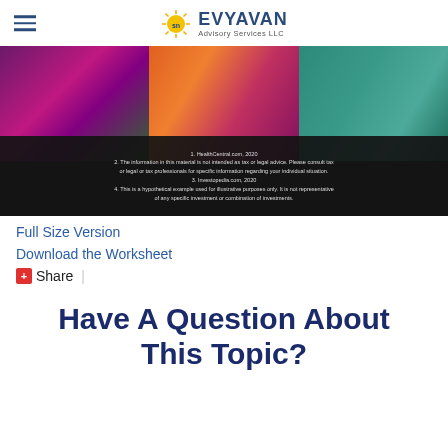EVYAVAN Advisory Services LLC
[Figure (photo): Flower photo (roses and eucalyptus) with dark overlay containing footnotes about HealthCentral.com 2020, tax/legal advice disclaimer, Investopedia.com 2020, and hypothetical example disclaimer]
Full Size Version
Download the Worksheet
Share |
Have A Question About This Topic?